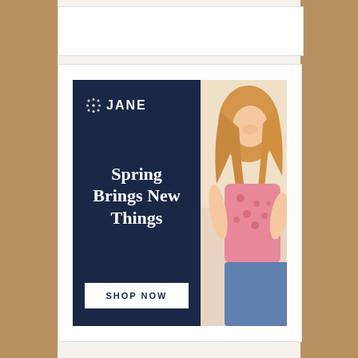[Figure (photo): Food/baked goods background visible on left and right edges of the page]
[Figure (illustration): White card banner at top center (empty/blank)]
[Figure (infographic): Jane brand advertisement banner: dark navy blue left panel with Jane logo (dot-circle icon + JANE text), tagline 'Spring Brings New Things' in white serif font, white 'SHOP NOW' button; right panel shows a smiling girl with curly blonde hair wearing a pink textured top and blue jeans skirt]